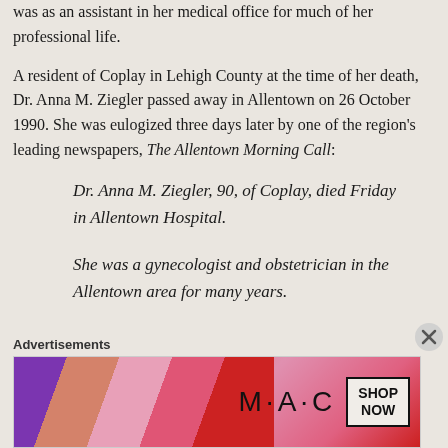was as an assistant in her medical office for much of her professional life.
A resident of Coplay in Lehigh County at the time of her death, Dr. Anna M. Ziegler passed away in Allentown on 26 October 1990. She was eulogized three days later by one of the region's leading newspapers, The Allentown Morning Call:
Dr. Anna M. Ziegler, 90, of Coplay, died Friday in Allentown Hospital. She was a gynecologist and obstetrician in the Allentown area for many years.
Advertisements
[Figure (other): MAC Cosmetics advertisement showing colorful lipsticks with SHOP NOW button]